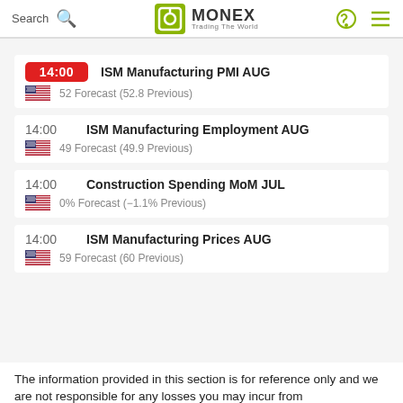Search | MONEX Trading The World
14:00 ISM Manufacturing PMI AUG | 52 Forecast (52.8 Previous)
14:00 ISM Manufacturing Employment AUG | 49 Forecast (49.9 Previous)
14:00 Construction Spending MoM JUL | 0% Forecast (-1.1% Previous)
14:00 ISM Manufacturing Prices AUG | 59 Forecast (60 Previous)
The information provided in this section is for reference only and we are not responsible for any losses you may incur from